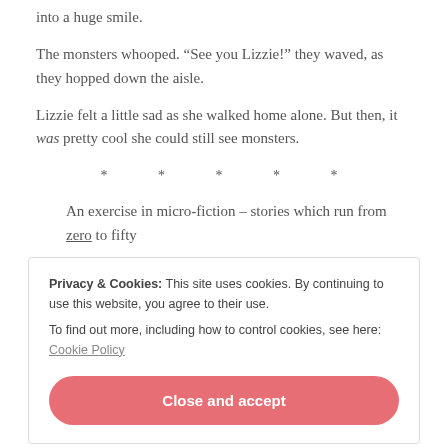into a huge smile.
The monsters whooped. “See you Lizzie!” they waved, as they hopped down the aisle.
Lizzie felt a little sad as she walked home alone. But then, it was pretty cool she could still see monsters.
* * * * *
An exercise in micro-fiction – stories which run from zero to fifty
Privacy & Cookies: This site uses cookies. By continuing to use this website, you agree to their use.
To find out more, including how to control cookies, see here: Cookie Policy
Close and accept